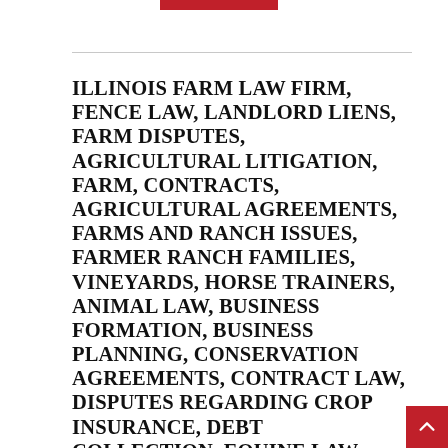ILLINOIS FARM LAW FIRM, FENCE LAW, LANDLORD LIENS, FARM DISPUTES, AGRICULTURAL LITIGATION, FARM, CONTRACTS, AGRICULTURAL AGREEMENTS, FARMS AND RANCH ISSUES, FARMER RANCH FAMILIES, VINEYARDS, HORSE TRAINERS, ANIMAL LAW, BUSINESS FORMATION, BUSINESS PLANNING, CONSERVATION AGREEMENTS, CONTRACT LAW, DISPUTES REGARDING CROP INSURANCE, DEBT COLLECTION, EQUINE LAW, ENERGY LAW, ENVIRONMENTAL LAW, ESTATE PLANNING, REAL ESTATE LAW, METRO EAST, BELLEVILLE, ST. CLAIR COUNTY,